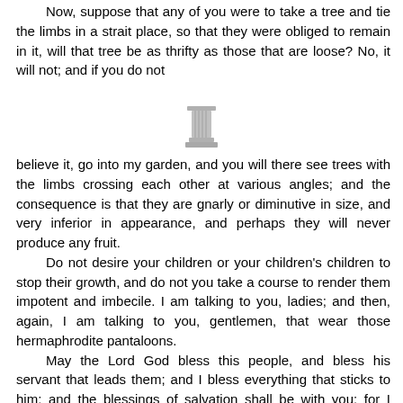Now, suppose that any of you were to take a tree and tie the limbs in a strait place, so that they were obliged to remain in it, will that tree be as thrifty as those that are loose? No, it will not; and if you do not
[Figure (illustration): A small decorative column/pillar icon centered on the page as a section divider]
believe it, go into my garden, and you will there see trees with the limbs crossing each other at various angles; and the consequence is that they are gnarly or diminutive in size, and very inferior in appearance, and perhaps they will never produce any fruit. Do not desire your children or your children's children to stop their growth, and do not you take a course to render them impotent and imbecile. I am talking to you, ladies; and then, again, I am talking to you, gentlemen, that wear those hermaphrodite pantaloons. May the Lord God bless this people, and bless his servant that leads them; and I bless everything that sticks to him; and the blessings of salvation shall be with you; for I promise you these things in the name of Israel's God. Amen.